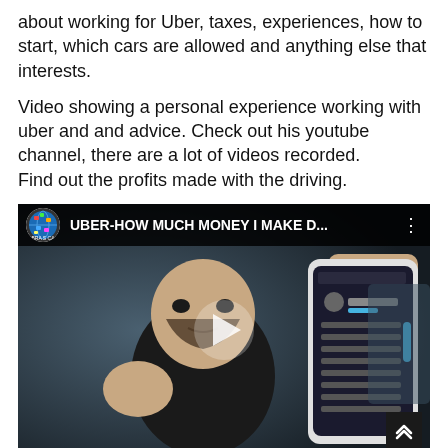about working for Uber, taxes, experiences, how to start, which cars are allowed and anything else that interests.
Video showing a personal experience working with uber and and advice. Check out his youtube channel, there are a lot of videos recorded.
Find out the profits made with the driving.
[Figure (screenshot): Embedded YouTube video thumbnail showing a man sitting in a car holding a smartphone displaying the Uber driver app menu. The video title bar shows a colorful globe channel icon and the title 'UBER-HOW MUCH MONEY I MAKE D...' A play button is centered on the video. A scroll-up arrow button appears in the bottom-right corner.]